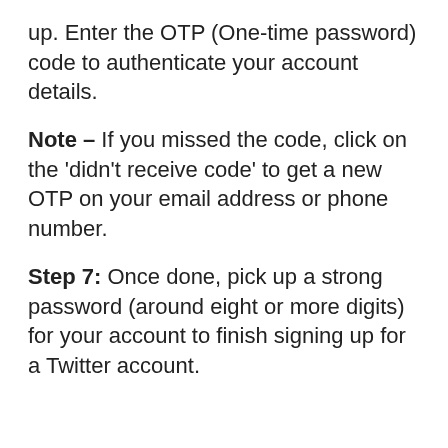up. Enter the OTP (One-time password) code to authenticate your account details.
Note – If you missed the code, click on the 'didn't receive code' to get a new OTP on your email address or phone number.
Step 7: Once done, pick up a strong password (around eight or more digits) for your account to finish signing up for a Twitter account.